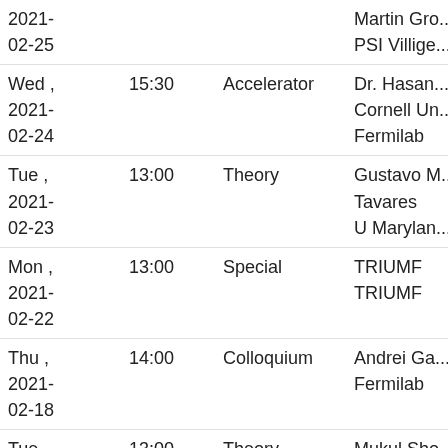| Date | Time | Type | Speaker/Info |
| --- | --- | --- | --- |
| 2021-02-25 |  |  | Martin Gro...
PSI Villige... |
| Wed ,
2021-02-24 | 15:30 | Accelerator | Dr. Hasan...
Cornell Un...
Fermilab |
| Tue ,
2021-02-23 | 13:00 | Theory | Gustavo M...
Tavares
U Marylan... |
| Mon ,
2021-02-22 | 13:00 | Special | TRIUMF
TRIUMF |
| Thu ,
2021-02-18 | 14:00 | Colloquium | Andrei Ga...
Fermilab |
| Tue , | 13:00 | Theory | Mukul Sho... |